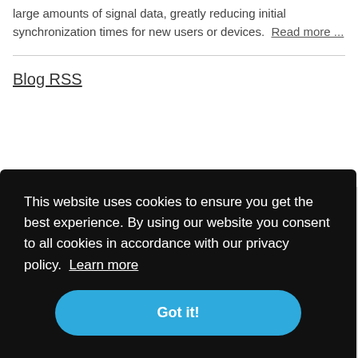large amounts of signal data, greatly reducing initial synchronization times for new users or devices. Read more ...
Blog RSS
Join Our Newsletter
Get more news about time tracking
software architects gmbh
Kornstraße 7A (Office)
(ung)
m
This website uses cookies to ensure you get the best experience. By using our website you consent to all cookies in accordance with our privacy policy. Learn more
Got it!
cts gmbh